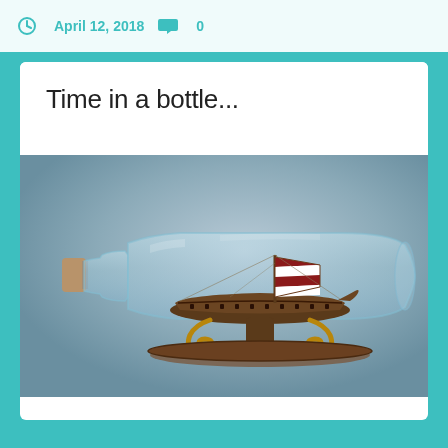April 12, 2018   0
Time in a bottle...
[Figure (photo): A glass bottle containing a miniature Viking longship with red and white striped sails, displayed on an ornate brown and gold decorative stand, set against a grey gradient background.]